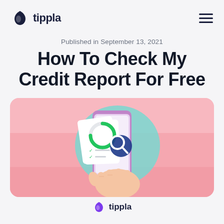tippla
Published in September 13, 2021
How To Check My Credit Report For Free
[Figure (illustration): Illustration of a hand holding a smartphone displaying a checklist and a magnifying glass icon with a credit score gauge, on a pink background with teal blob shape. Tippla logo and wordmark at the bottom.]